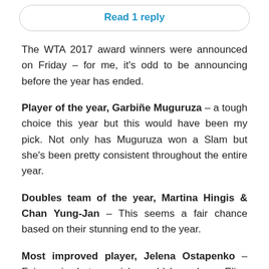Read 1 reply
The WTA 2017 award winners were announced on Friday – for me, it's odd to be announcing before the year has ended.
Player of the year, Garbiñe Muguruza – a tough choice this year but this would have been my pick. Not only has Muguruza won a Slam but she's been pretty consistent throughout the entire year.
Doubles team of the year, Martina Hingis & Chan Yung-Jan – This seems a fair chance based on their stunning end to the year.
Most improved player, Jelena Ostapenko – Fair again, but my pick would have been Elina Svitolina.